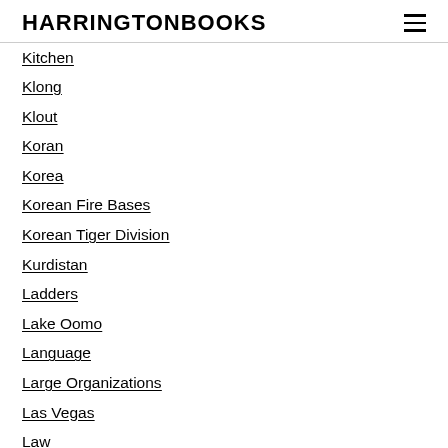HARRINGTONBOOKS
Kitchen
Klong
Klout
Koran
Korea
Korean Fire Bases
Korean Tiger Division
Kurdistan
Ladders
Lake Oomo
Language
Large Organizations
Las Vegas
Law
Laws
Lawyers
Laziness